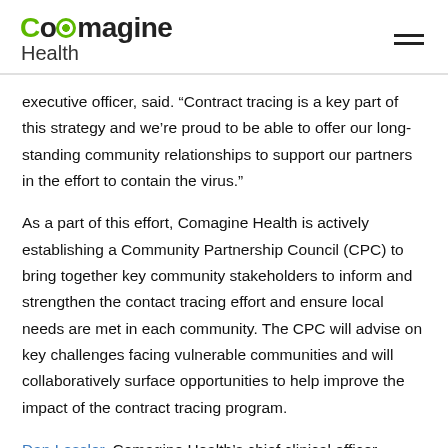Comagine Health
executive officer, said. “Contract tracing is a key part of this strategy and we’re proud to be able to offer our long-standing community relationships to support our partners in the effort to contain the virus.”
As a part of this effort, Comagine Health is actively establishing a Community Partnership Council (CPC) to bring together key community stakeholders to inform and strengthen the contact tracing effort and ensure local needs are met in each community. The CPC will advise on key challenges facing vulnerable communities and will collaboratively surface opportunities to help improve the impact of the contract tracing program.
Dan Lessler, Comagine Health’s chief clinical officer